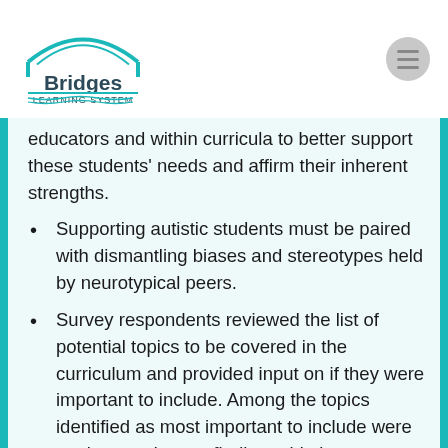Bridges Learning System
educators and within curricula to better support these students' needs and affirm their inherent strengths.
Supporting autistic students must be paired with dismantling biases and stereotypes held by neurotypical peers.
Survey respondents reviewed the list of potential topics to be covered in the curriculum and provided input on if they were important to include. Among the topics identified as most important to include were getting needs met, finding pride in neurodivergent identity, and navigating communication differences.